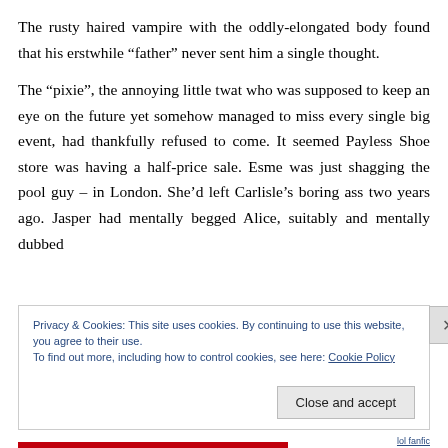The rusty haired vampire with the oddly-elongated body found that his erstwhile “father” never sent him a single thought.
The “pixie”, the annoying little twat who was supposed to keep an eye on the future yet somehow managed to miss every single big event, had thankfully refused to come. It seemed Payless Shoe store was having a half-price sale. Esme was just shagging the pool guy – in London. She’d left Carlisle’s boring ass two years ago. Jasper had mentally begged Alice, suitably and mentally dubbed
Privacy & Cookies: This site uses cookies. By continuing to use this website, you agree to their use.
To find out more, including how to control cookies, see here: Cookie Policy
Close and accept